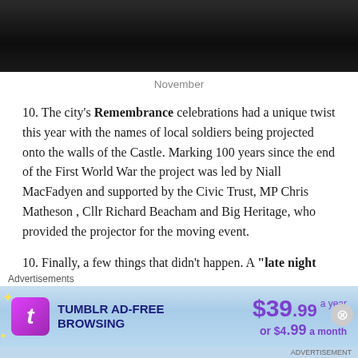[Figure (photo): Dark photograph, partially visible at top of page — appears to show a night scene or dimly lit environment]
November
10. The city's Remembrance celebrations had a unique twist this year with the names of local soldiers being projected onto the walls of the Castle. Marking 100 years since the end of the First World War the project was led by Niall MacFadyen and supported by the Civic Trust, MP Chris Matheson , Cllr Richard Beacham and Big Heritage, who provided the projector for the moving event.
10. Finally, a few things that didn't happen. A "late night
[Figure (other): Tumblr Ad-Free Browsing advertisement banner: $39.99 a year or $4.99 a month]